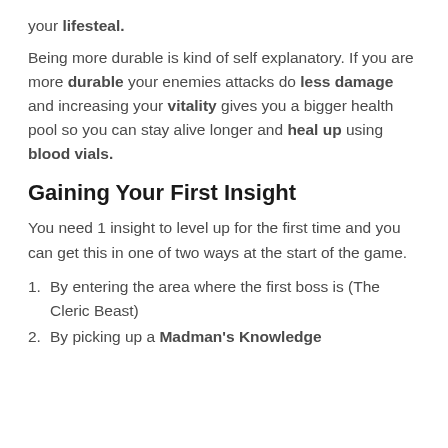your lifesteal.
Being more durable is kind of self explanatory. If you are more durable your enemies attacks do less damage and increasing your vitality gives you a bigger health pool so you can stay alive longer and heal up using blood vials.
Gaining Your First Insight
You need 1 insight to level up for the first time and you can get this in one of two ways at the start of the game.
By entering the area where the first boss is (The Cleric Beast)
By picking up a Madman's Knowledge